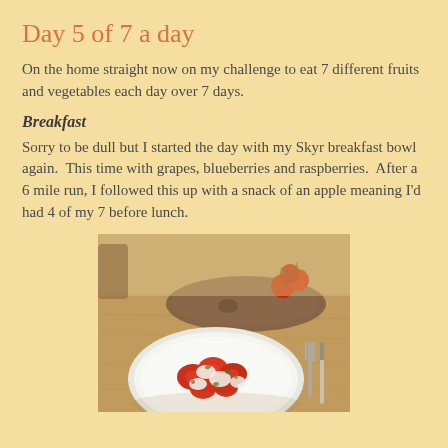Day 5 of 7 a day
On the home straight now on my challenge to eat 7 different fruits and vegetables each day over 7 days.
Breakfast
Sorry to be dull but I started the day with my Skyr breakfast bowl again.  This time with grapes, blueberries and raspberries.  After a 6 mile run, I followed this up with a snack of an apple meaning I'd had 4 of my 7 before lunch.
[Figure (photo): A white plate with a caprese-style salad featuring sliced tomatoes and mozzarella with herbs, on a wooden table. In the background is a wooden board with cherry tomatoes and a fork is visible to the right.]